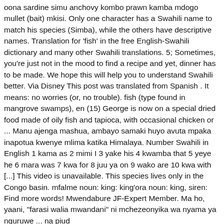oona sardine simu anchovy kombo prawn kamba mdogo mullet (bait) mkisi. Only one character has a Swahili name to match his species (Simba), while the others have descriptive names. Translation for 'fish' in the free English-Swahili dictionary and many other Swahili translations. 5; Sometimes, you're just not in the mood to find a recipe and yet, dinner has to be made. We hope this will help you to understand Swahili better. Via Disney This post was translated from Spanish . It means: no worries (or, no trouble). fish (type found in mangrove swamps), en (15) George is now on a special dried food made of oily fish and tapioca, with occasional chicken or ... Manu ajenga mashua, ambayo samaki huyo avuta mpaka inapotua kwenye mlima katika Himalaya. Number Swahili in English 1 kama as 2 mimi I 3 yake his 4 kwamba that 5 yeye he 6 mara was 7 kwa for 8 juu ya on 9 wako are 10 kwa with [...] This video is unavailable. This species lives only in the Congo basin. mfalme noun: king: king'ora noun: king, siren: Find more words! Mwendabure JF-Expert Member. Ma ho, yaani, "farasi walia mwandani" ni mchezeonyika wa nyama ya nguruwe ... na piud